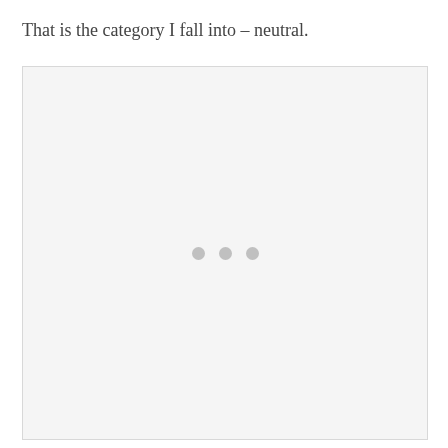That is the category I fall into – neutral.
[Figure (other): A light gray placeholder box with three gray dots centered in the middle, indicating a loading or empty image state.]